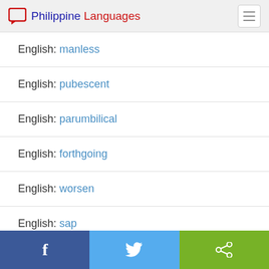Philippine Languages
English: manless
English: pubescent
English: parumbilical
English: forthgoing
English: worsen
English: sap
Facebook | Twitter | Share